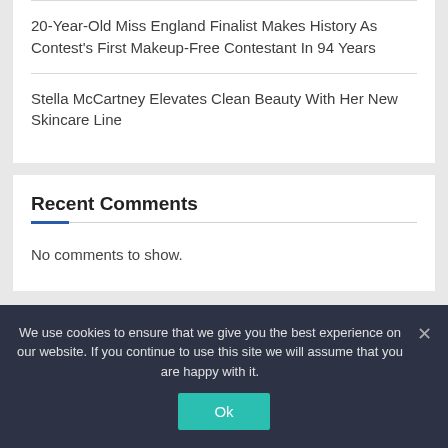20-Year-Old Miss England Finalist Makes History As Contest's First Makeup-Free Contestant In 94 Years
Stella McCartney Elevates Clean Beauty With Her New Skincare Line
Recent Comments
No comments to show.
We use cookies to ensure that we give you the best experience on our website. If you continue to use this site we will assume that you are happy with it.